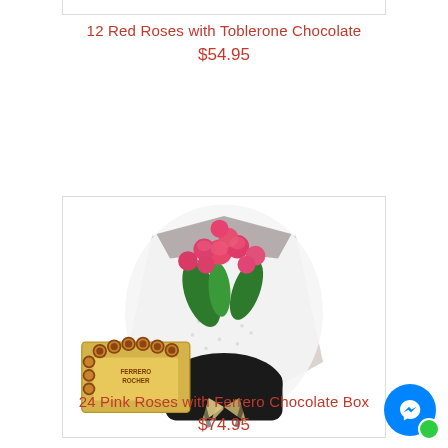12 Red Roses with Toblerone Chocolate
$54.95
[Figure (photo): Photo of a bouquet of 24 pink roses with Ferrero Rocher chocolate box]
24 Pink Roses with Ferrero Chocolate Box
$74.95